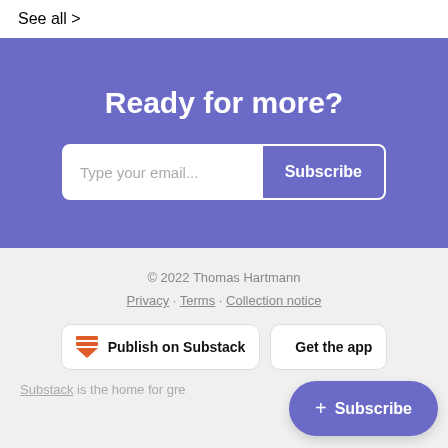See all >
Ready for more?
[Figure (screenshot): Email subscription input box with placeholder 'Type your email...' and a 'Subscribe' button]
© 2022 Thomas Hartmann
Privacy · Terms · Collection notice
[Figure (screenshot): Two buttons side by side: 'Publish on Substack' with orange icon, and 'Get the app' with Apple logo]
Substack is the home for gre
[Figure (screenshot): Floating purple pill button with '+ Subscribe']